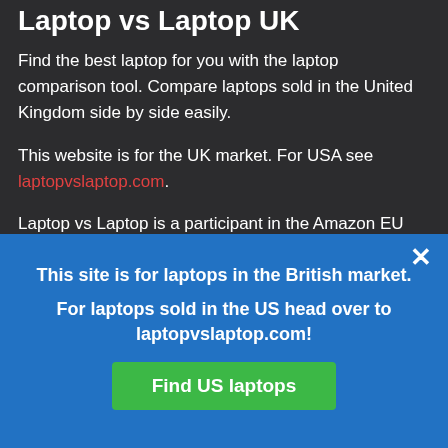Laptop vs Laptop UK
Find the best laptop for you with the laptop comparison tool. Compare laptops sold in the United Kingdom side by side easily.
This website is for the UK market. For USA see laptopvslaptop.com.
Laptop vs Laptop is a participant in the Amazon EU Associates Programme, an affiliate advertising programme
This site is for laptops in the British market.
For laptops sold in the US head over to laptopvslaptop.com!
Find US laptops